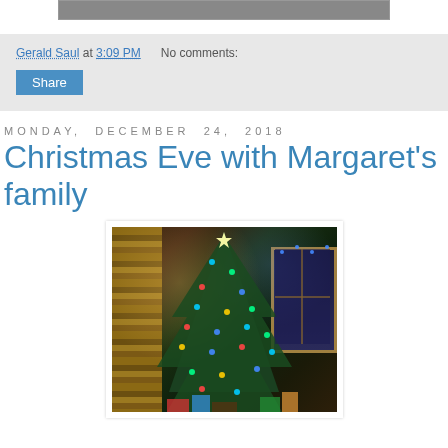[Figure (photo): Partial photo strip at top of page, cropped image]
Gerald Saul at 3:09 PM    No comments:
Share
Monday, December 24, 2018
Christmas Eve with Margaret's family
[Figure (photo): A decorated Christmas tree with colorful blue, green, and red lights in a living room with bookshelves and a window in the background]